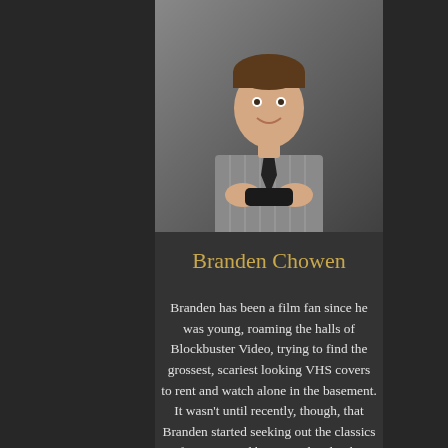[Figure (photo): Portrait photo of Branden Chowen, a young man in a grey striped dress shirt and black tie, holding what appears to be a video game controller or similar device, photographed against a dark background]
Branden Chowen
Branden has been a film fan since he was young, roaming the halls of Blockbuster Video, trying to find the grossest, scariest looking VHS covers to rent and watch alone in the basement. It wasn't until recently, though, that Branden started seeking out the classics of cinema, and began to develop his true passion for the art form. Branden approaches each film with the unique perspective of having studied the art from the inside, having both a bachelor's and master's degree in